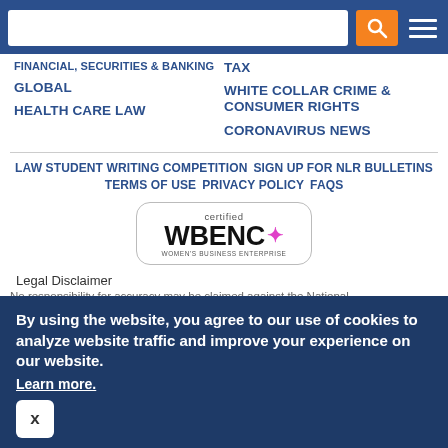Search bar and navigation header
FINANCIAL, SECURITIES & BANKING
TAX
GLOBAL
WHITE COLLAR CRIME & CONSUMER RIGHTS
HEALTH CARE LAW
CORONAVIRUS NEWS
LAW STUDENT WRITING COMPETITION
SIGN UP FOR NLR BULLETINS
TERMS OF USE
PRIVACY POLICY
FAQS
[Figure (logo): WBENC certified Women's Business Enterprise badge with rounded rectangle border]
Legal Disclaimer
By using the website, you agree to our use of cookies to analyze website traffic and improve your experience on our website.
Learn more.